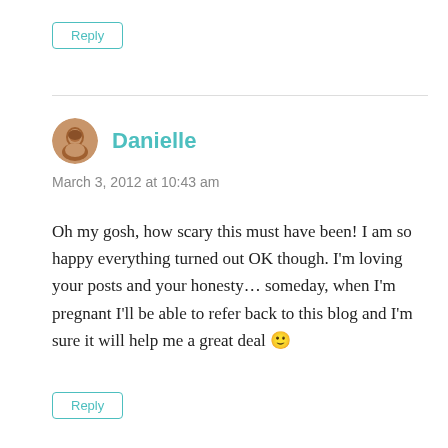Reply
Danielle
March 3, 2012 at 10:43 am
Oh my gosh, how scary this must have been! I am so happy everything turned out OK though. I'm loving your posts and your honesty… someday, when I'm pregnant I'll be able to refer back to this blog and I'm sure it will help me a great deal 🙂
Reply